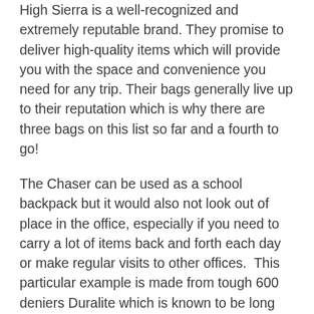High Sierra is a well-recognized and extremely reputable brand. They promise to deliver high-quality items which will provide you with the space and convenience you need for any trip. Their bags generally live up to their reputation which is why there are three bags on this list so far and a fourth to go!
The Chaser can be used as a school backpack but it would also not look out of place in the office, especially if you need to carry a lot of items back and forth each day or make regular visits to other offices.  This particular example is made from tough 600 deniers Duralite which is known to be long lasting and